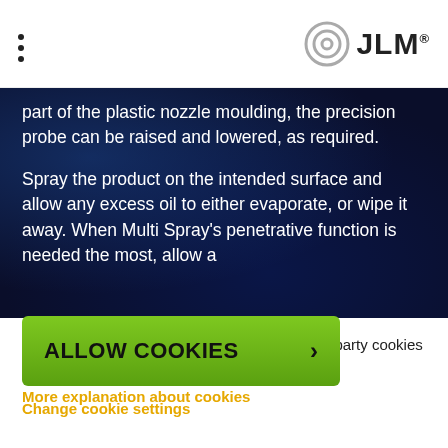JLM
part of the plastic nozzle moulding, the precision probe can be raised and lowered, as required.

Spray the product on the intended surface and allow any excess oil to either evaporate, or wipe it away. When Multi Spray's penetrative function is needed the most, allow a
We use functional, analytical cookies and third-party cookies to ensure that this website functions optimally.
More explanation about cookies
ALLOW COOKIES
Change cookie settings